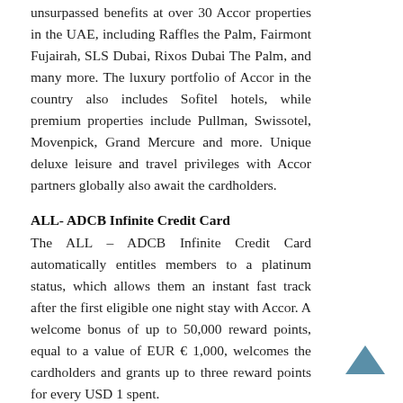unsurpassed benefits at over 30 Accor properties in the UAE, including Raffles the Palm, Fairmont Fujairah, SLS Dubai, Rixos Dubai The Palm, and many more. The luxury portfolio of Accor in the country also includes Sofitel hotels, while premium properties include Pullman, Swissotel, Movenpick, Grand Mercure and more. Unique deluxe leisure and travel privileges with Accor partners globally also await the cardholders.
ALL- ADCB Infinite Credit Card
The ALL – ADCB Infinite Credit Card automatically entitles members to a platinum status, which allows them an instant fast track after the first eligible one night stay with Accor. A welcome bonus of up to 50,000 reward points, equal to a value of EUR € 1,000, welcomes the cardholders and grants up to three reward points for every USD 1 spent.
In-Hotel Benefits
Cardholders at the property also...